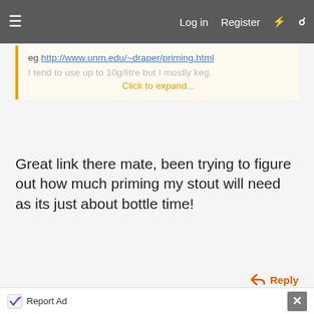Log in  Register
eg http://www.unm.edu/~draper/priming.html

I tend to use up to 10g/litre but I mostly keg.
Click to expand...
Great link there mate, been trying to figure out how much priming my stout will need as its just about bottle time!
Reply
Advertisement
Report Ad